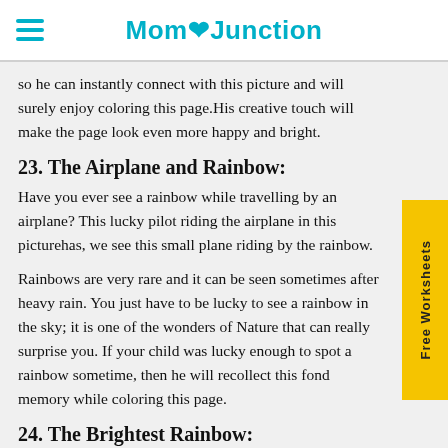MomJunction
so he can instantly connect with this picture and will surely enjoy coloring this page.His creative touch will make the page look even more happy and bright.
23. The Airplane and Rainbow:
Have you ever see a rainbow while travelling by an airplane? This lucky pilot riding the airplane in this picturehas, we see this small plane riding by the rainbow.
Rainbows are very rare and it can be seen sometimes after heavy rain. You just have to be lucky to see a rainbow in the sky; it is one of the wonders of Nature that can really surprise you. If your child was lucky enough to spot a rainbow sometime, then he will recollect this fond memory while coloring this page.
24. The Brightest Rainbow: